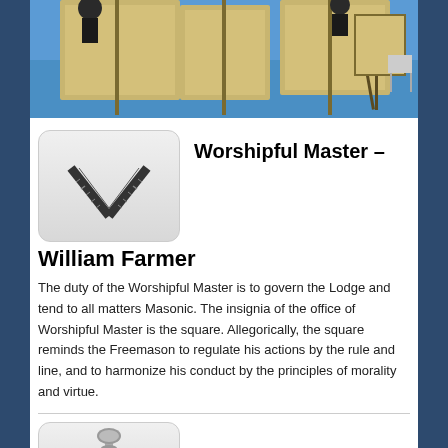[Figure (photo): Photo of a Masonic lodge event scene with tan/beige fabric backdrops and an easel on a blue carpet floor, people visible in background]
[Figure (illustration): Icon of a square (carpenter's square / right-angle ruler) used as the insignia of the Worshipful Master, displayed on a light gray rounded rectangle background]
Worshipful Master – William Farmer
The duty of the Worshipful Master is to govern the Lodge and tend to all matters Masonic. The insignia of the office of Worshipful Master is the square. Allegorically, the square reminds the Freemason to regulate his actions by the rule and line, and to harmonize his conduct by the principles of morality and virtue.
[Figure (illustration): Icon of a Masonic gavel or column displayed on a light gray rounded rectangle background]